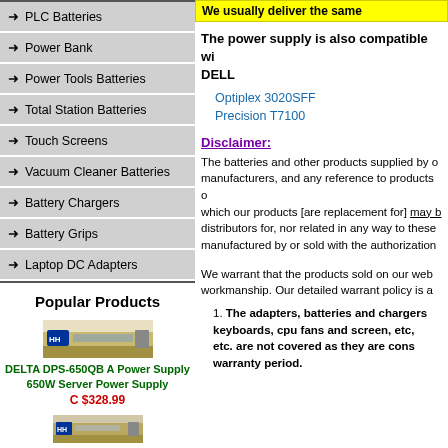PLC Batteries
Power Bank
Power Tools Batteries
Total Station Batteries
Touch Screens
Vacuum Cleaner Batteries
Battery Chargers
Battery Grips
Laptop DC Adapters
Popular Products
[Figure (photo): DELTA DPS-650QB A power supply product image]
DELTA DPS-650QB A Power Supply 650W Server Power Supply
C $328.99
[Figure (photo): Second power supply product image thumbnail]
We usually deliver the same
The power supply is also compatible with DELL
Optiplex 3020SFF
Precision T7100
Optiple
Disclaimer:
The batteries and other products supplied by our company are replacement products. We are not manufacturers, and any reference to products or trademarks of such companies is purely to describe which our products [are replacement for] may be compatible with. We are not authorized dealers or distributors for, nor related in any way to these companies. Our products are not manufactured by or sold with the authorization
We warrant that the products sold on our web site are free from defects in material and workmanship. Our detailed warrant policy is a
The adapters, batteries and chargers are warranted. Accessories such as keyboards, cpu fans and screen, etc, and consumable parts such as motor brushes etc. are not covered as they are consumable items. Please check the warranty period.